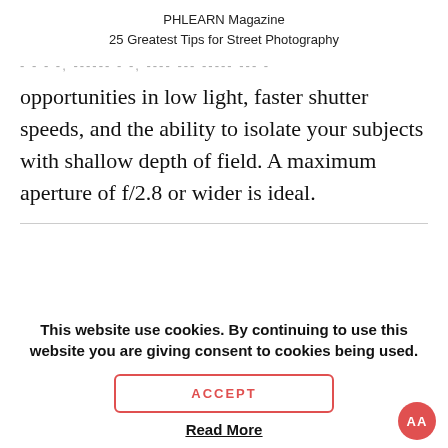PHLEARN Magazine
25 Greatest Tips for Street Photography
- - - -, ------ - -, ---- --- ----- --- -
opportunities in low light, faster shutter speeds, and the ability to isolate your subjects with shallow depth of field. A maximum aperture of f/2.8 or wider is ideal.
This website use cookies. By continuing to use this website you are giving consent to cookies being used.
ACCEPT
Read More